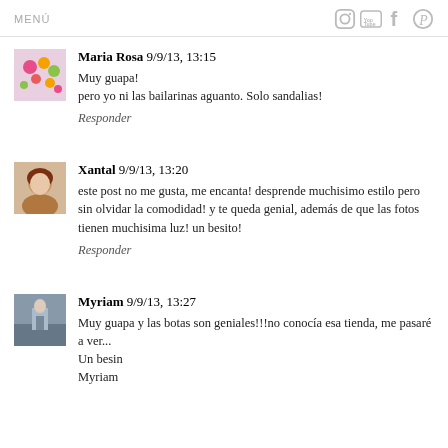MENÚ
Maria Rosa 9/9/13, 13:15
Muy guapa!
pero yo ni las bailarinas aguanto. Solo sandalias!
Responder
Xantal 9/9/13, 13:20
este post no me gusta, me encanta! desprende muchisimo estilo pero sin olvidar la comodidad! y te queda genial, además de que las fotos tienen muchisima luz! un besito!
Responder
Myriam 9/9/13, 13:27
Muy guapa y las botas son geniales!!!no conocía esa tienda, me pasaré a ver...
Un besin
Myriam